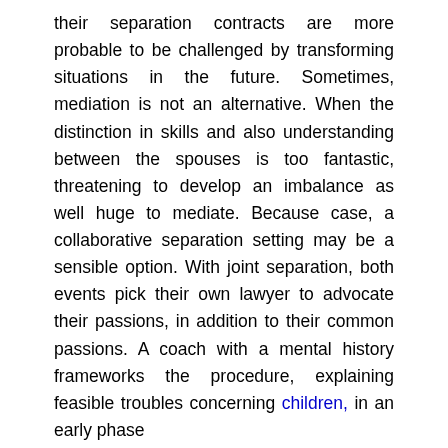their separation contracts are more probable to be challenged by transforming situations in the future. Sometimes, mediation is not an alternative. When the distinction in skills and also understanding between the spouses is too fantastic, threatening to develop an imbalance as well huge to mediate. Because case, a collaborative separation setting may be a sensible option. With joint separation, both events pick their own lawyer to advocate their passions, in addition to their common passions. A coach with a mental history frameworks the procedure, explaining feasible troubles concerning children, in an early phase